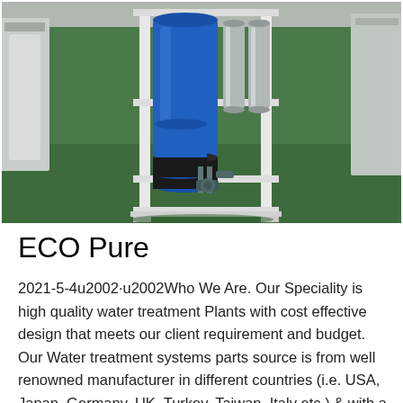[Figure (photo): A water treatment plant unit with a white metal frame rack holding a large blue cylindrical tank, several stainless steel cylindrical filter vessels, a smaller black-bottom blue tank at the bottom, and piping/valves, all sitting on a green-painted factory floor.]
ECO Pure
2021-5-4u2002·u2002Who We Are. Our Speciality is high quality water treatment Plants with cost effective design that meets our client requirement and budget. Our Water treatment systems parts source is from well renowned manufacturer in different countries (i.e. USA, Japan, Germany, UK, Turkey, Taiwan, Italy etc.) & with a High